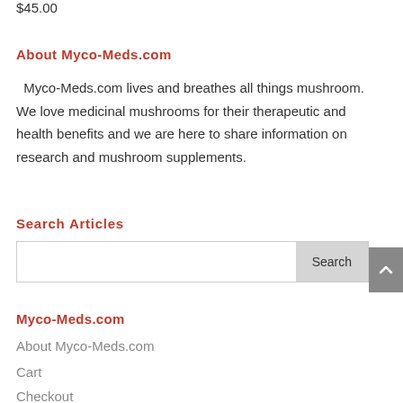$45.00
About Myco-Meds.com
Myco-Meds.com lives and breathes all things mushroom. We love medicinal mushrooms for their therapeutic and health benefits and we are here to share information on research and mushroom supplements.
Search Articles
Search
Myco-Meds.com
About Myco-Meds.com
Cart
Checkout